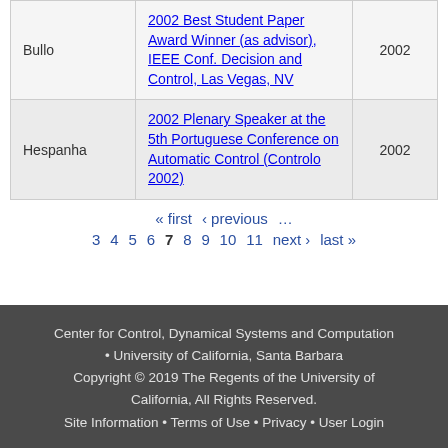| Name | Award | Year |
| --- | --- | --- |
| Bullo | 2002 Best Student Paper Award Winner (as advisor), IEEE Conf. Decision and Control, Las Vegas, NV | 2002 |
| Hespanha | 2002 Plenary Speaker at the 5th Portuguese Conference on Automatic Control (Controlo 2002) | 2002 |
« first ‹ previous … 3 4 5 6 7 8 9 10 11 next › last »
Center for Control, Dynamical Systems and Computation • University of California, Santa Barbara Copyright © 2019 The Regents of the University of California, All Rights Reserved. Site Information • Terms of Use • Privacy • User Login